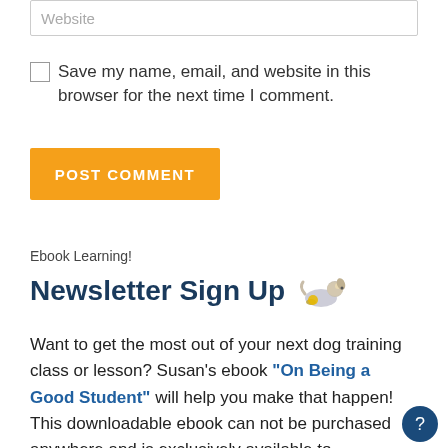Website
Save my name, email, and website in this browser for the next time I comment.
POST COMMENT
Ebook Learning!
Newsletter Sign Up
Want to get the most out of your next dog training class or lesson? Susan's ebook "On Being a Good Student" will help you make that happen! This downloadable ebook can not be purchased anywhere and is exclusively available to subscribers